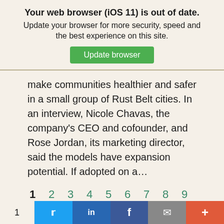Your web browser (iOS 11) is out of date.
Update your browser for more security, speed and the best experience on this site.
Update browser
make communities healthier and safer in a small group of Rust Belt cities. In an interview, Nicole Chavas, the company’s CEO and cofounder, and Rose Jordan, its marketing director, said the models have expansion potential. If adopted on a…
1  2  3  4  5  6  7  8  9  »»  Last  »
Use the filters below to narrow the search results
CONTENT TYPE
1  t  in  f  ✉  +